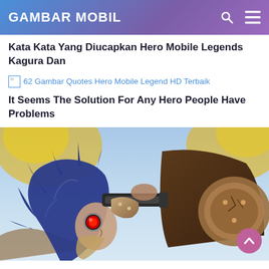GAMBAR MOBIL
Kata Kata Yang Diucapkan Hero Mobile Legends Kagura Dan
[Figure (other): Broken image link placeholder: 62 Gambar Quotes Hero Mobile Legend HD Terbaik]
It Seems The Solution For Any Hero People Have Problems
[Figure (illustration): Mobile Legends hero character with blue spiky hair, red eye/goggle, holding a weapon, wearing armor, with fiery yellow background effects]